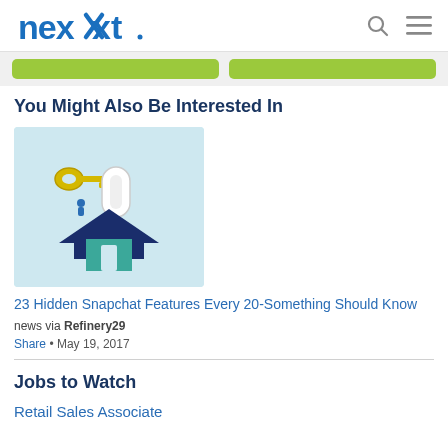nexxt (logo) with search and menu icons
[Figure (other): Two green buttons/bars partially visible]
You Might Also Be Interested In
[Figure (illustration): Illustration of keys and a house icon on light blue background]
23 Hidden Snapchat Features Every 20-Something Should Know
news via Refinery29
Share • May 19, 2017
Jobs to Watch
Retail Sales Associate